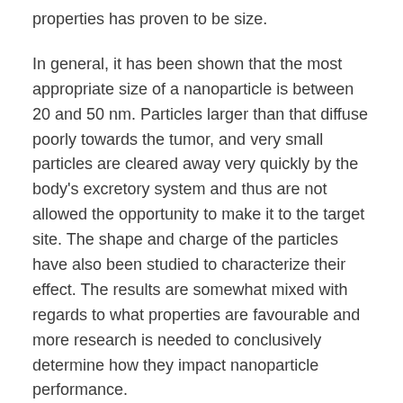properties has proven to be size.
In general, it has been shown that the most appropriate size of a nanoparticle is between 20 and 50 nm. Particles larger than that diffuse poorly towards the tumor, and very small particles are cleared away very quickly by the body's excretory system and thus are not allowed the opportunity to make it to the target site. The shape and charge of the particles have also been studied to characterize their effect. The results are somewhat mixed with regards to what properties are favourable and more research is needed to conclusively determine how they impact nanoparticle performance.
How can we improve tumor penetration?
The authors outline potential strategies to improve the penetration of nanoparticles in solid mass tumors. The